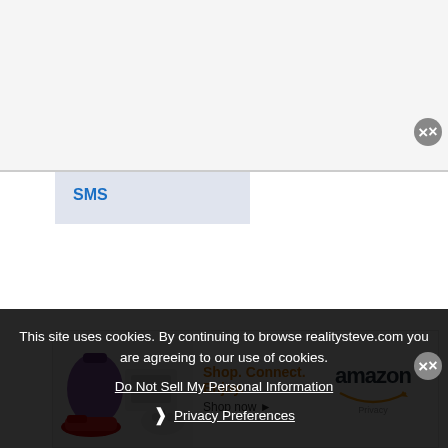[Figure (screenshot): White/gray top section of a webpage, likely a navigation or header area]
SMS
[Figure (other): Amazon advertisement banner: 'Shop. Connect. Enjoy. Shop now ▶' with amazon logo and Privacy label, showing products including a purple bag, sneakers, and gaming controller.]
Well we are officially in the home stretch as the "Bache... reunion... to see. And ...orette" looks just as good now, if not better, than they did when their season aireds. ...social media last ...
This site uses cookies. By continuing to browse realitysteve.com you are agreeing to our use of cookies.
Do Not Sell My Personal Information
❯ Privacy Preferences